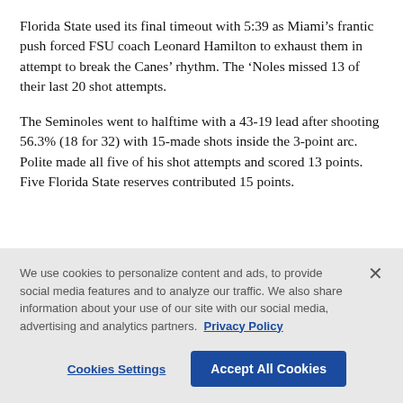Florida State used its final timeout with 5:39 as Miami’s frantic push forced FSU coach Leonard Hamilton to exhaust them in attempt to break the Canes’ rhythm. The ‘Noles missed 13 of their last 20 shot attempts.
The Seminoles went to halftime with a 43-19 lead after shooting 56.3% (18 for 32) with 15-made shots inside the 3-point arc. Polite made all five of his shot attempts and scored 13 points. Five Florida State reserves contributed 15 points.
We use cookies to personalize content and ads, to provide social media features and to analyze our traffic. We also share information about your use of our site with our social media, advertising and analytics partners. Privacy Policy
Cookies Settings
Accept All Cookies